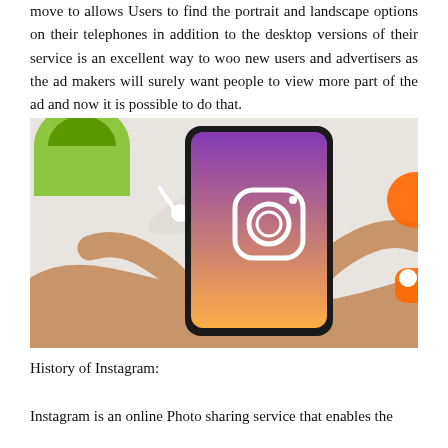move to allows Users to find the portrait and landscape options on their telephones in addition to the desktop versions of their service is an excellent way to woo new users and advertisers as the ad makers will surely want people to view more part of the ad and now it is possible to do that.
[Figure (photo): Hands holding a smartphone displaying the Instagram app logo (camera icon with gradient background from purple to orange-red to orange). In the background: a green coffee cup, white earbuds on a white surface. Partially visible orange social media icons on the right edge.]
History of Instagram:
Instagram is an online Photo sharing service that enables the